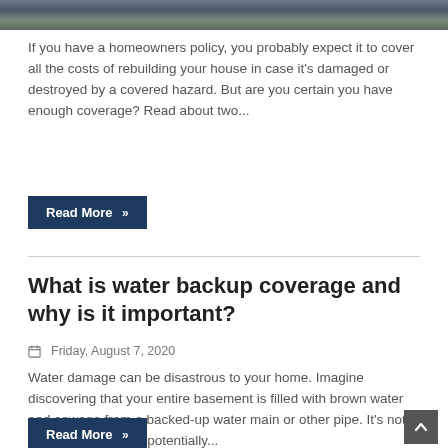[Figure (photo): Top banner image showing water or natural scene with blue-grey and green tones]
If you have a homeowners policy, you probably expect it to cover all the costs of rebuilding your house in case it's damaged or destroyed by a covered hazard. But are you certain you have enough coverage? Read about two...
Read More »
What is water backup coverage and why is it important?
Friday, August 7, 2020
Water damage can be disastrous to your home. Imagine discovering that your entire basement is filled with brown water and sewage from a backed-up water main or other pipe. It's not only disgusting and potentially...
Read More »